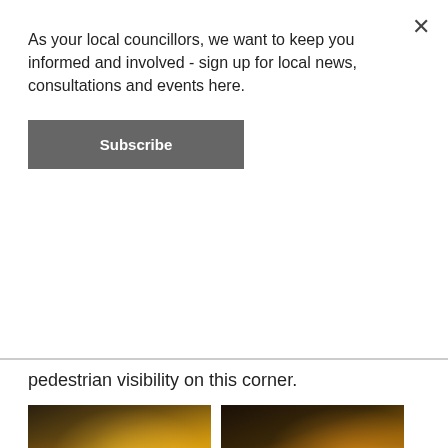As your local councillors, we want to keep you informed and involved - sign up for local news, consultations and events here.
Subscribe
pedestrian visibility on this corner.
[Figure (photo): Night-time street scene showing road works with amber street lights illuminating barriers on a wet road with shops in the background]
[Figure (photo): Night-time street scene showing orange safety barriers and a person standing near road works, with shops and street lights in the background]
This is by no means enough, and we will continue to campaign for safety improvements. Soon, we hope to be able to share detailed plans for the gyratory redesign – the high level designs were developed